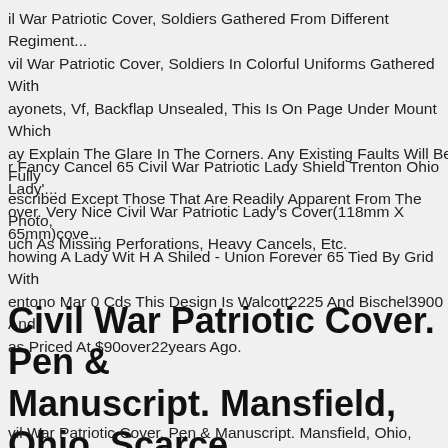Civil War Patriotic Cover, Soldiers Gathered From Different Regiments. Civil War Patriotic Cover, Soldiers In Colorful Uniforms Gathered With Bayonets, Vf, Backflap Unsealed, This Is On Page Under Mount Which May Explain The Glare In The Corners. Any Existing Faults Will Be Fully Described Except Those That Are Readily Apparent From The Photo, Such As Missing Perforations, Heavy Cancels, Etc.
r Fancy Cancel 65 Civil War Patriotic Lady Shield Trenton Ohio Lady's Cover. Very Nice Civil War Patriotic Lady's Cover(118mm X 65mm)cover Showing A Lady Wit H A Shiled - Union Forever 65 Tied By Grid With Rentono Mar 0 Cds This Design Is Walcott2225 And Bischel3900 And as Priced At $90over22years Ago.
Civil War Patriotic Cover. Pen & Manuscript. Mansfield, Ohio, Scarce Patriotic!
Civil War Patriotic Cover. Pen & Manuscript. Mansfield, Ohio, Scarce Patriotic! I Specialize In Illustrated Advt, Civil War, History Of All U.s.